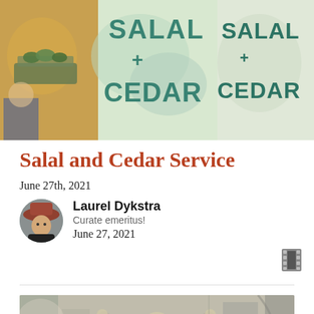[Figure (photo): Collage of photos showing handmade signs reading 'SALAL + CEDAR' in teal/green lettering on painted backgrounds, alongside a person holding plants]
Salal and Cedar Service
June 27th, 2021
[Figure (photo): Circular avatar photo of Laurel Dykstra wearing a hat, dark clothing]
Laurel Dykstra
Curate emeritus!
June 27, 2021
[Figure (illustration): An illustration/painting of a bearded elderly figure with arms raised, surrounded by large stone columns or pillars, in muted green and grey tones]